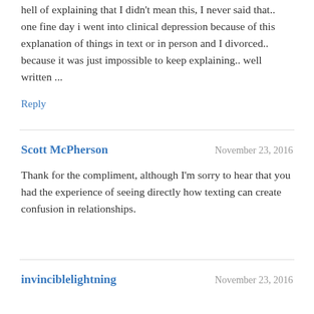hell of explaining that I didn't mean this, I never said that.. one fine day i went into clinical depression because of this explanation of things in text or in person and I divorced.. because it was just impossible to keep explaining.. well written ...
Reply
Scott McPherson
November 23, 2016
Thank for the compliment, although I'm sorry to hear that you had the experience of seeing directly how texting can create confusion in relationships.
invinciblelightning
November 23, 2016